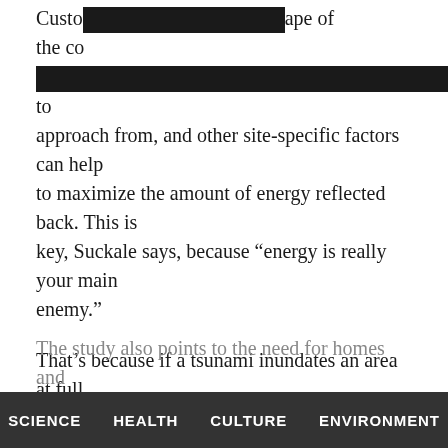Customizing the angle of approach, the shape of the coastline [redacted] to approach from, and other site-specific factors can help to maximize the amount of energy reflected back. This is key, Suckale says, because “energy is really your main enemy.”
That’s because if a tsunami inundates an area at full throttle with even one foot of water, Suckale says, it will leave few survivors. “It just slams everything. You can’t stay on your feet, and once you fall, it’s very dangerous. It throws cars at buildings. You’ll easily be knocked over by things carried in the water.”
The study also points to the need for homes and…
SCIENCE   HEALTH   CULTURE   ENVIRONMENT